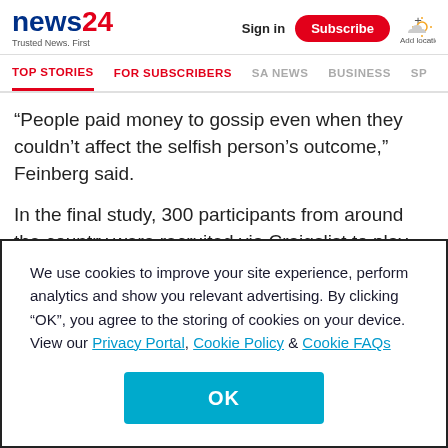news24 | Trusted News. First | Sign in | Subscribe | Add location
TOP STORIES | FOR SUBSCRIBERS | SA NEWS | BUSINESS | SP
“People paid money to gossip even when they couldn’t affect the selfish person’s outcome,” Feinberg said.
In the final study, 300 participants from around the country were recruited via Craigslist to play several rounds of the economic trust game online. They played using raffle tickets that would be entered in a drawing for a $50 (about
We use cookies to improve your site experience, perform analytics and show you relevant advertising. By clicking “OK”, you agree to the storing of cookies on your device. View our Privacy Portal, Cookie Policy & Cookie FAQs
OK